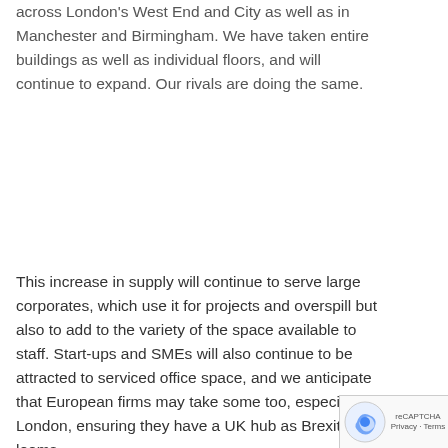across London's West End and City as well as in Manchester and Birmingham. We have taken entire buildings as well as individual floors, and will continue to expand. Our rivals are doing the same.
This increase in supply will continue to serve large corporates, which use it for projects and overspill but also to add to the variety of the space available to staff. Start-ups and SMEs will also continue to be attracted to serviced office space, and we anticipate that European firms may take some too, especially in London, ensuring they have a UK hub as Brexit looms.